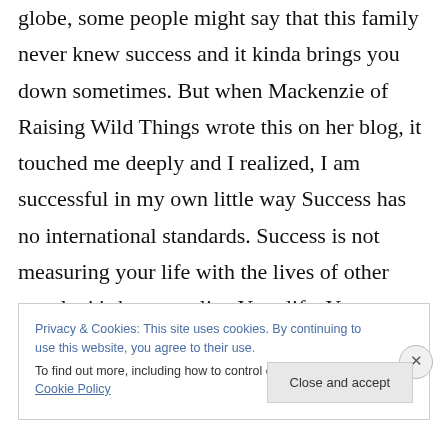globe, some people might say that this family never knew success and it kinda brings you down sometimes. But when Mackenzie of Raising Wild Things wrote this on her blog, it touched me deeply and I realized, I am successful in my own little way Success has no international standards. Success is not measuring your life with the lives of other people, it's how you live Your life. You are your own success.
Privacy & Cookies: This site uses cookies. By continuing to use this website, you agree to their use.
To find out more, including how to control cookies, see here: Cookie Policy